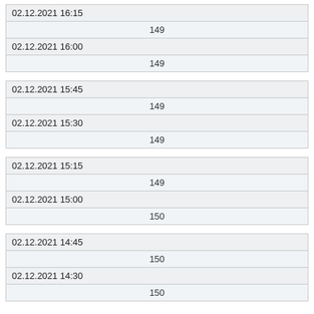| 02.12.2021 16:15 |  |
|  | 149 |
| 02.12.2021 16:00 |  |
|  | 149 |
| 02.12.2021 15:45 |  |
|  | 149 |
| 02.12.2021 15:30 |  |
|  | 149 |
| 02.12.2021 15:15 |  |
|  | 149 |
| 02.12.2021 15:00 |  |
|  | 150 |
| 02.12.2021 14:45 |  |
|  | 150 |
| 02.12.2021 14:30 |  |
|  | 150 |